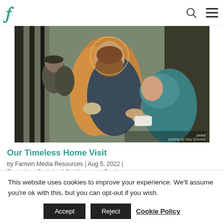Famvin (logo) | search icon | menu icon
[Figure (illustration): A painting (detail) by Gary Schumer depicting a bearded man in orange/gold robe helping a person in a teal headscarf, with other figures and a basket in the background. Caption reads: '(detail) painting by Gary Schumer']
Our Timeless Home Visit
by Famvin Media Resources | Aug 5, 2022 |
Formation, Society of St. Vincent de Paul
This website uses cookies to improve your experience. We'll assume you're ok with this, but you can opt-out if you wish.
Accept | Reject | Cookie Policy